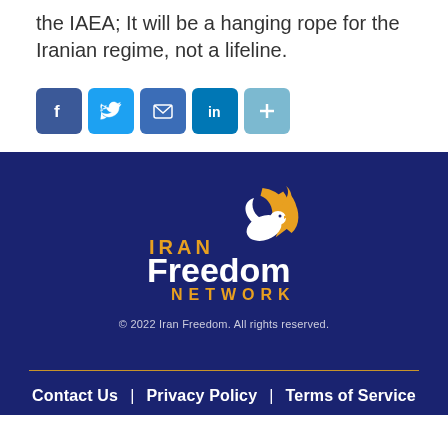the IAEA; It will be a hanging rope for the Iranian regime, not a lifeline.
[Figure (infographic): Social share buttons: Facebook, Twitter, Email, LinkedIn, Share (plus icon)]
[Figure (logo): Iran Freedom Network logo with stylized bird and text: IRAN Freedom NETWORK]
© 2022 Iran Freedom. All rights reserved.
Contact Us | Privacy Policy | Terms of Service